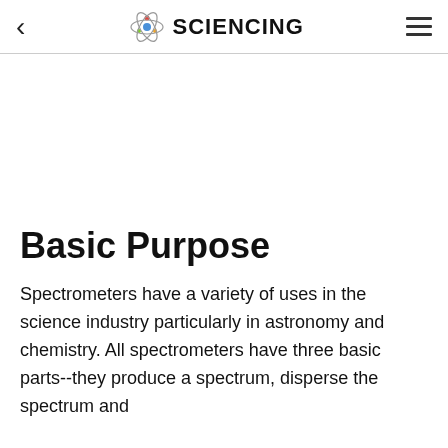< SCIENCING ≡
Basic Purpose
Spectrometers have a variety of uses in the science industry particularly in astronomy and chemistry. All spectrometers have three basic parts--they produce a spectrum, disperse the spectrum and